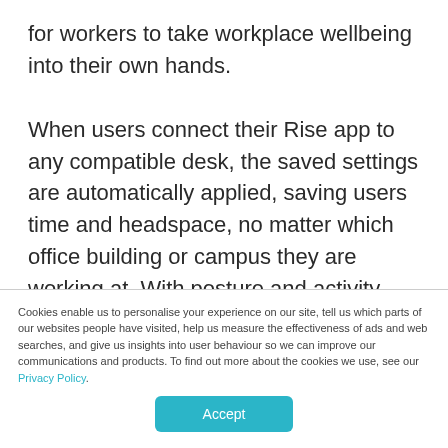for workers to take workplace wellbeing into their own hands.

When users connect their Rise app to any compatible desk, the saved settings are automatically applied, saving users time and headspace, no matter which office building or campus they are working at. With posture and activity tracking and an option to set movement reminders throughout the day, users will
Cookies enable us to personalise your experience on our site, tell us which parts of our websites people have visited, help us measure the effectiveness of ads and web searches, and give us insights into user behaviour so we can improve our communications and products. To find out more about the cookies we use, see our Privacy Policy.
Accept